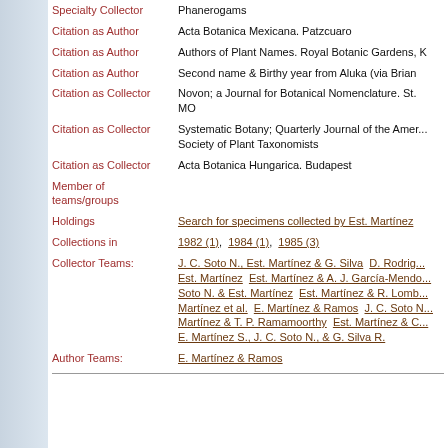| Field | Value |
| --- | --- |
| Specialty Collector | Phanerogams |
| Citation as Author | Acta Botanica Mexicana. Patzcuaro |
| Citation as Author | Authors of Plant Names. Royal Botanic Gardens, K |
| Citation as Author | Second name & Birthy year from Aluka (via Brian |
| Citation as Collector | Novon; a Journal for Botanical Nomenclature. St. MO |
| Citation as Collector | Systematic Botany; Quarterly Journal of the American Society of Plant Taxonomists |
| Citation as Collector | Acta Botanica Hungarica. Budapest |
| Member of teams/groups |  |
| Holdings | Search for specimens collected by Est. Martínez |
| Collections in | 1982 (1), 1984 (1), 1985 (3) |
| Collector Teams: | J. C. Soto N., Est. Martínez & G. Silva  D. Rodrig... Est. Martínez  Est. Martínez & A. J. García-Mendo... Soto N. & Est. Martínez  Est. Martínez & R. Lomb... Martínez et al.  E. Martínez & Ramos  J. C. Soto N... Martínez & T. P. Ramamoorthy  Est. Martínez & C... E. Martínez S., J. C. Soto N., & G. Silva R. |
| Author Teams: | E. Martínez & Ramos |